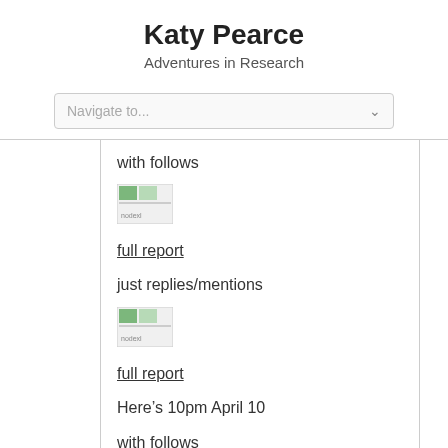Katy Pearce
Adventures in Research
Navigate to...
with follows
[Figure (screenshot): nodexl image placeholder]
full report
just replies/mentions
[Figure (screenshot): nodexl image placeholder]
full report
Here’s 10pm April 10
with follows
[Figure (screenshot): nodexl image placeholder (partial)]